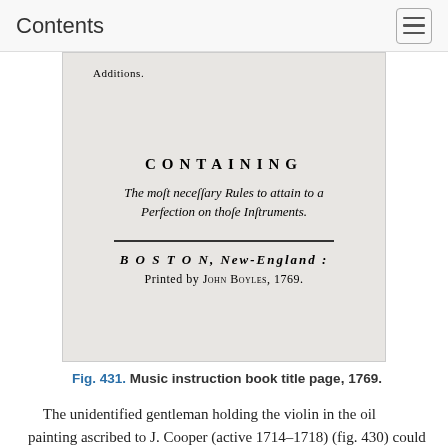Contents
[Figure (photo): Scanned title page of a music instruction book printed in Boston, New-England by John Boyles, 1769. Contains text: 'Additions. CONTAINING The most necessary Rules to attain to a Perfection on those Instruments. BOSTON, New-England: Printed by John Boyles, 1769.']
Fig. 431. Music instruction book title page, 1769.
The unidentified gentleman holding the violin in the oil painting ascribed to J. Cooper (active 1714–1718) (fig. 430) could represent the type of violinist appearing in the early eighteenth-century American concerts. He